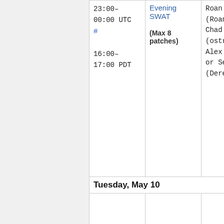| Time | Session | People |
| --- | --- | --- |
| 23:00–00:00 UTC #
16:00–17:00 PDT | Evening SWAT
(Max 8 patches) | Roan (RoanKat...
Chad (ostrich...
Alex (Kre...
or Sébast...
(Derecks... |
| Tuesday, May 10 |  |  |
|  |  |  |